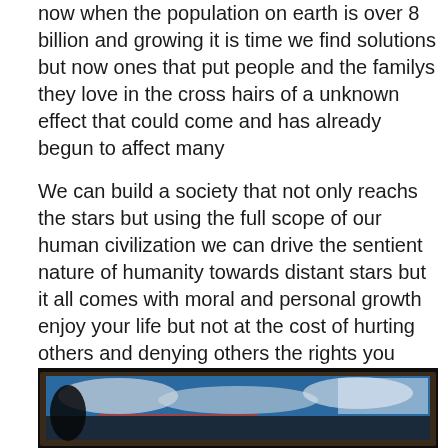now when the population on earth is over 8 billion and growing it is time we find solutions but now ones that put people and the familys they love in the cross hairs of a unknown effect that could come and has already begun to affect many
We can build a society that not only reachs the stars but using the full scope of our human civilization we can drive the sentient nature of humanity towards distant stars but it all comes with moral and personal growth enjoy your life but not at the cost of hurting others and denying others the rights you take for granted
[Figure (photo): A dark photograph showing what appears to be a framed painting or artwork with blue, white, and red colors, displayed in a dark room setting.]